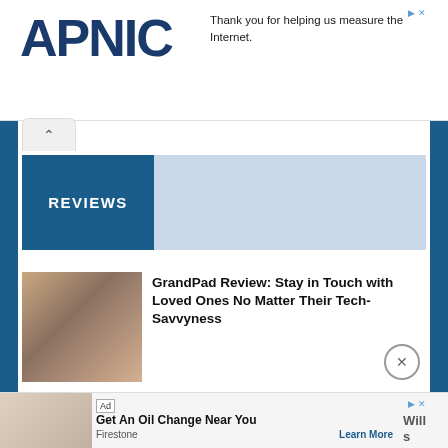APNIC — Thank you for helping us measure the Internet.
REVIEWS
[Figure (photo): Elderly woman smiling and holding a red tablet device]
GrandPad Review: Stay in Touch with Loved Ones No Matter Their Tech-Savvyness
[Figure (photo): Smartphone mounted on a selfie stick with ring light]
ShiftCam SnapGrip Creator Kit Review: 3 Components Take Your iPhone Photos and Videos to the Next Level
[Figure (photo): Ad: Firestone store — Get An Oil Change Near You]
Ad — Get An Oil Change Near You — Firestone — Learn More